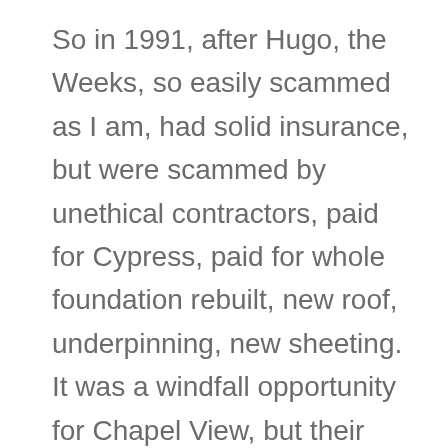So in 1991, after Hugo, the Weeks, so easily scammed as I am, had solid insurance, but were scammed by unethical contractors, paid for Cypress, paid for whole foundation rebuilt, new roof, underpinning, new sheeting. It was a windfall opportunity for Chapel View, but their lack of presence, knowledge, and research, waiting for a trusted local contractor, were conned by a fly-by-night, evil sociopathic con. The pine he slipshod shored up the foundation with rotted. The patched, rotting roof sheeting and cheapest crud for shingles, how bad was it? I noticed after I bought, there was sand every day, every morning, even when I was